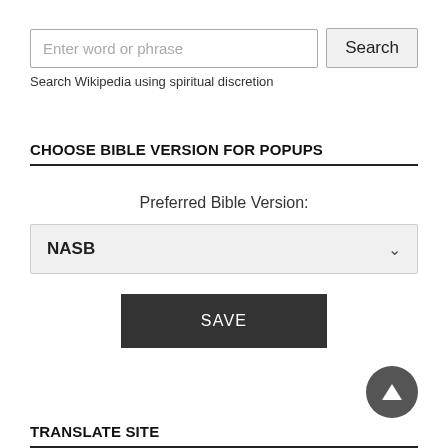Enter word or phrase
Search
Search Wikipedia using spiritual discretion
CHOOSE BIBLE VERSION FOR POPUPS
Preferred Bible Version:
NASB
SAVE
TRANSLATE SITE